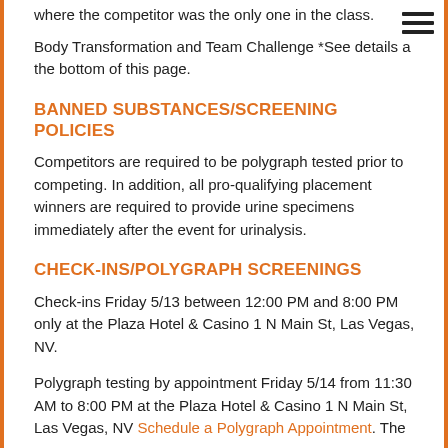where the competitor was the only one in the class.
Body Transformation and Team Challenge *See details at the bottom of this page.
BANNED SUBSTANCES/SCREENING POLICIES
Competitors are required to be polygraph tested prior to competing. In addition, all pro-qualifying placement winners are required to provide urine specimens immediately after the event for urinalysis.
CHECK-INS/POLYGRAPH SCREENINGS
Check-ins Friday 5/13 between 12:00 PM and 8:00 PM only at the Plaza Hotel & Casino 1 N Main St, Las Vegas, NV.
Polygraph testing by appointment Friday 5/14 from 11:30 AM to 8:00 PM at the Plaza Hotel & Casino 1 N Main St, Las Vegas, NV Schedule a Polygraph Appointment. The